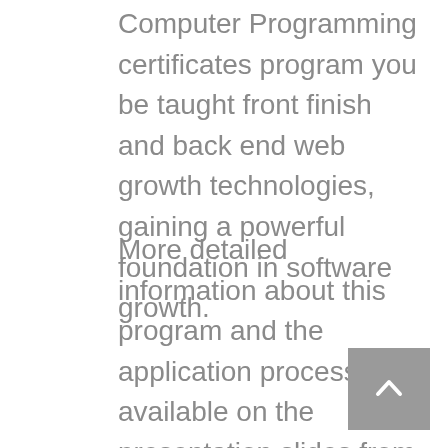Computer Programming certificates program you be taught front finish and back end web growth technologies, gaining a powerful foundation in software growth.
More detailed information about this program and the application process is available on the presentation slides from our most recent CSE Pathways Workshops. You can find more information about the BMEB Contiguous Pathway on the UCSC Catalog. Interested students should